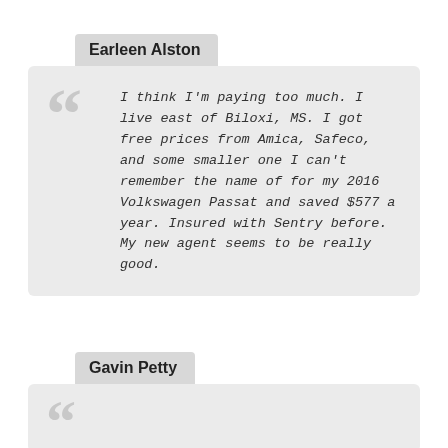Earleen Alston
I think I'm paying too much. I live east of Biloxi, MS. I got free prices from Amica, Safeco, and some smaller one I can't remember the name of for my 2016 Volkswagen Passat and saved $577 a year. Insured with Sentry before. My new agent seems to be really good.
Gavin Petty